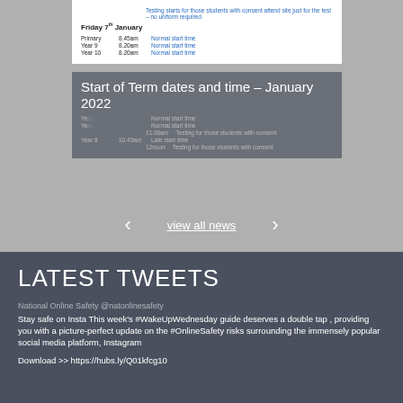|  |  |  |
| --- | --- | --- |
|  |  | Testing starts for those students with consent attend site just for the test – no uniform required |
| Friday 7th January |  |  |
| Primary | 8.45am | Normal start time |
| Year 9 | 8.20am | Normal start time |
| Year 10 | 8.20am | Normal start time |
Start of Term dates and time – January 2022
|  |  |  |
| --- | --- | --- |
|  |  | Normal start time |
|  |  | Normal start time |
|  | 11.00am | Testing for those students with consent |
| Year 8 | 10.45am | Late start time |
|  | 12noon | Testing for those students with consent |
view all news
LATEST TWEETS
National Online Safety @natonlinesafety
Stay safe on Insta This week's #WakeUpWednesday guide deserves a double tap , providing you with a picture-perfect update on the #OnlineSafety risks surrounding the immensely popular social media platform, Instagram
Download >> https://hubs.ly/Q01kfcg10